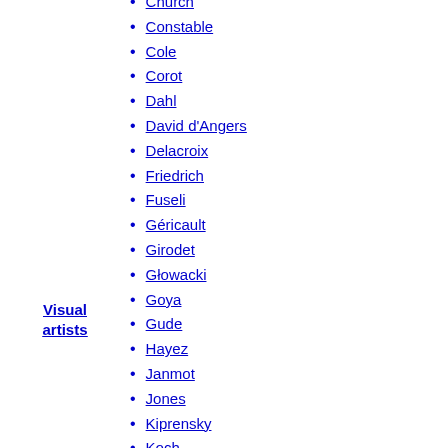Church
Constable
Cole
Corot
Dahl
David d'Angers
Delacroix
Friedrich
Fuseli
Géricault
Girodet
Głowacki
Goya
Gude
Hayez
Janmot
Jones
Kiprensky
Koch
Lampi
Leutze
Martin
Michałowski
Palmer
Porto-Alegre
Visual artists